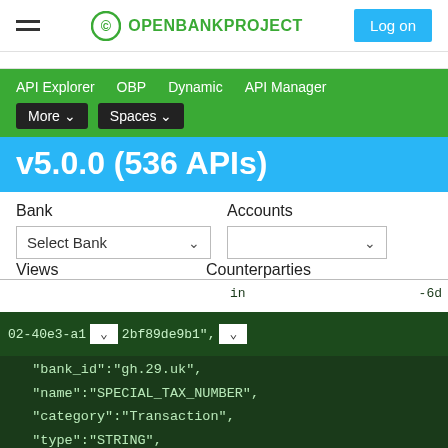OPENBANKPROJECT — Log on
API Explorer   OBP   Dynamic   API Manager   More ▾   Spaces ▾
v5.0.0 (536 APIs)
Bank   Accounts   Select Bank   Views   Counterparties
02-40e3-a1... 2bf89de9b1", "bank_id":"gh.29.uk", "name":"SPECIAL_TAX_NUMBER", "category":"Transaction", "type":"STRING", "description":"description"